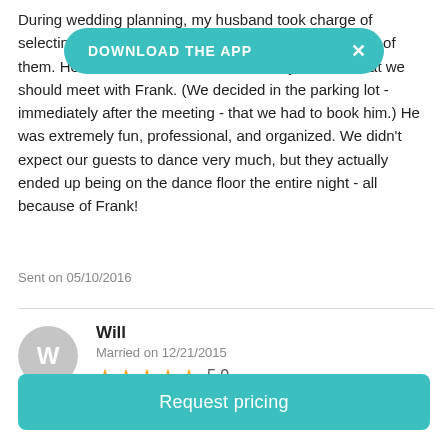During wedding planning, my husband took charge of selecting a[...] ment was one of them. He did a ton of research, and finally decided that we should meet with Frank. (We decided in the parking lot - immediately after the meeting - that we had to book him.) He was extremely fun, professional, and organized. We didn't expect our guests to dance very much, but they actually ended up being on the dance floor the entire night - all because of Frank!
Sent on 05/10/2016
Will
Married on 12/21/2015
5.0
Request pricing